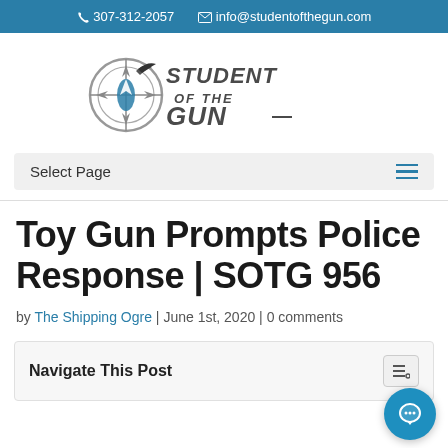307-312-2057   info@studentofthegun.com
[Figure (logo): Student of the Gun logo with compass/crosshair graphic and stylized text reading STUDENT OF THE GUN]
Select Page
Toy Gun Prompts Police Response | SOTG 956
by The Shipping Ogre | June 1st, 2020 | 0 comments
Navigate This Post